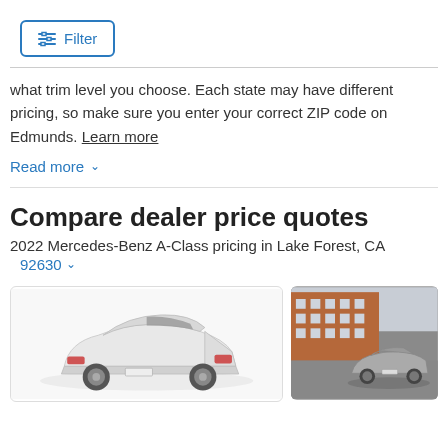[Figure (screenshot): Filter button with sliders icon and blue border]
what trim level you choose. Each state may have different pricing, so make sure you enter your correct ZIP code on Edmunds. Learn more
Read more
Compare dealer price quotes
2022 Mercedes-Benz A-Class pricing in Lake Forest, CA 92630
[Figure (photo): White Mercedes-Benz A-Class sedan shown from rear three-quarter view]
[Figure (photo): Silver sedan parked near a brick building]